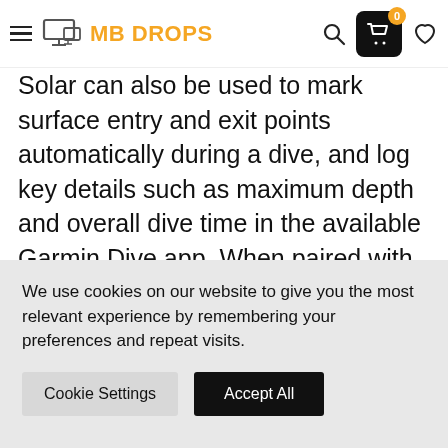MB DROPS
Solar can also be used to mark surface entry and exit points automatically during a dive, and log key details such as maximum depth and overall dive time in the available Garmin Dive app. When paired with a portable satellite communicator, the Descent G1 Solar can even deliver an interactive SOS message in the event of a diving accident. Outside of diving options, the Descent G1 Solar's customizable dial displays and solid suite of connected features makes
We use cookies on our website to give you the most relevant experience by remembering your preferences and repeat visits.
Cookie Settings  Accept All